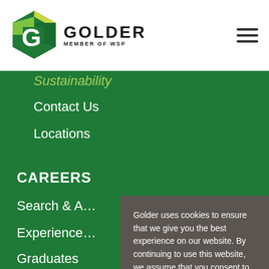[Figure (logo): Golder Member of WSP logo with hexagonal G icon in green/yellow]
Sustainability
Contact Us
Locations
CAREERS
Search & A…
Experience
Graduates
ETHICS &…
Golder Ethi…
Inclusion &…
Golder uses cookies to ensure that we give you the best experience on our website. By continuing to use this website, we assume that you consent to receive all cookies on our website.